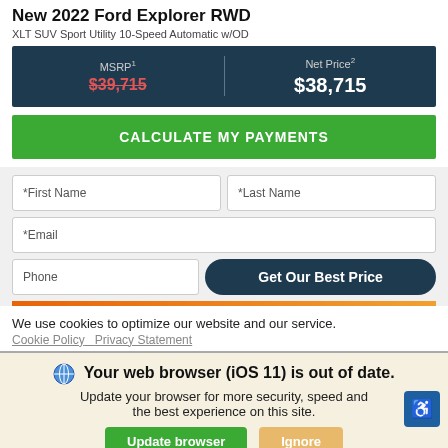New 2022 Ford Explorer RWD
XLT SUV Sport Utility 10-Speed Automatic w/OD
| MSRP | Net Price |
| --- | --- |
| $39,715 (strikethrough) | $38,715 |
CALCULATE MY PAYMENTS
*First Name
*Last Name
*Email
Phone
Get Our Best Price
We use cookies to optimize our website and our service.
Cookie Policy   Privacy Statement
Your web browser (iOS 11) is out of date. Update your browser for more security, speed and the best experience on this site.
Update browser
Ignore